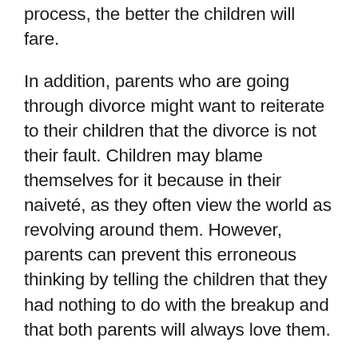process, the better the children will fare.
In addition, parents who are going through divorce might want to reiterate to their children that the divorce is not their fault. Children may blame themselves for it because in their naiveté, as they often view the world as revolving around them. However, parents can prevent this erroneous thinking by telling the children that they had nothing to do with the breakup and that both parents will always love them.
Divorce is never a simple process for parents or young children. However,